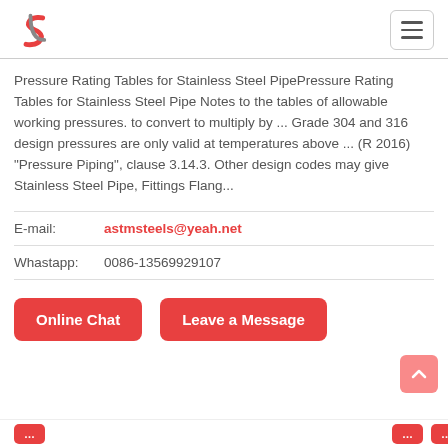Logo and navigation header
Pressure Rating Tables for Stainless Steel PipePressure Rating Tables for Stainless Steel Pipe Notes to the tables of allowable working pressures. to convert to multiply by ... Grade 304 and 316 design pressures are only valid at temperatures above ... (R 2016) "Pressure Piping", clause 3.14.3. Other design codes may give Stainless Steel Pipe, Fittings Flang...
E-mail:   astmsteels@yeah.net
Whastapp:  0086-13569929107